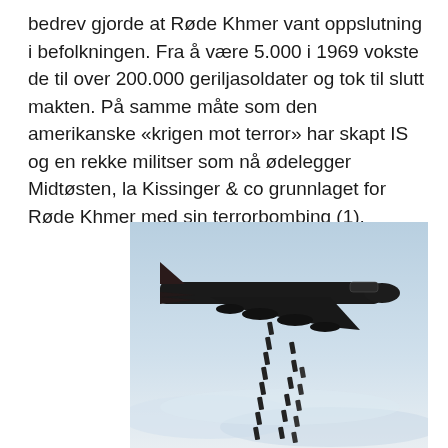bedrev gjorde at Røde Khmer vant oppslutning i befolkningen. Fra å være 5.000 i 1969 vokste de til over 200.000 geriljasoldater og tok til slutt makten. På samme måte som den amerikanske «krigen mot terror» har skapt IS og en rekke militser som nå ødelegger Midtøsten, la Kissinger & co grunnlaget for Røde Khmer med sin terrorbombing (1).
[Figure (photo): A large military jet bomber (B-52 style) in flight against a cloudy sky, dropping a cascade of bombs falling downward in a diagonal stream.]